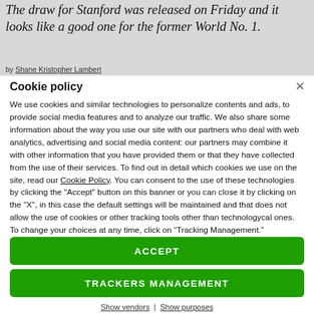The draw for Stanford was released on Friday and it looks like a good one for the former World No. 1.
by Shane Kristopher Lambert
Cookie policy
We use cookies and similar technologies to personalize contents and ads, to provide social media features and to analyze our traffic. We also share some information about the way you use our site with our partners who deal with web analytics, advertising and social media content: our partners may combine it with other information that you have provided them or that they have collected from the use of their services. To find out in detail which cookies we use on the site, read our Cookie Policy. You can consent to the use of these technologies by clicking the "Accept" button on this banner or you can close it by clicking on the "X", in this case the default settings will be maintained and that does not allow the use of cookies or other tracking tools other than technologycal ones. To change your choices at any time, click on “Tracking Management.”
ACCEPT
TRACKERS MANAGEMENT
Show vendors | Show purposes